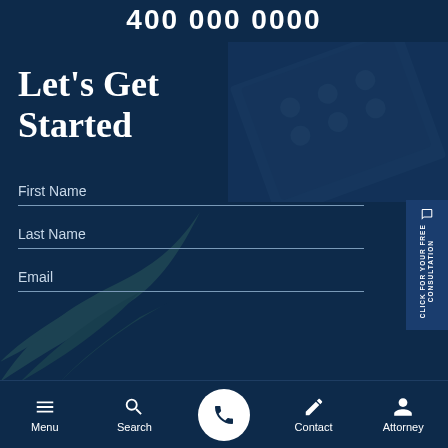400 000 0000
Let's Get Started
First Name
Last Name
Email
CLICK FOR YOUR FREE CONSULTATION
Menu | Search | (phone) | Contact | Attorney